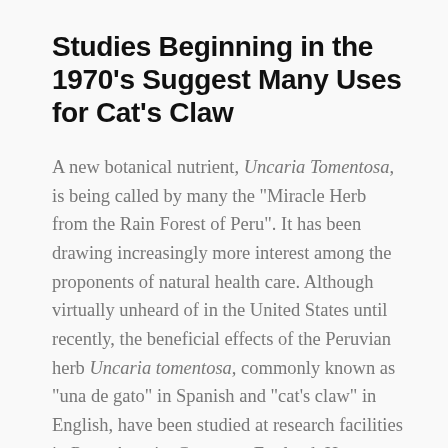Studies Beginning in the 1970's Suggest Many Uses for Cat's Claw
A new botanical nutrient, Uncaria Tomentosa, is being called by many the "Miracle Herb from the Rain Forest of Peru". It has been drawing increasingly more interest among the proponents of natural health care. Although virtually unheard of in the United States until recently, the beneficial effects of the Peruvian herb Uncaria tomentosa, commonly known as "una de gato" in Spanish and "cat's claw" in English, have been studied at research facilities in Peru, Austria, Germany, England, Hungary and Italy, since the 1970's. These studies suggest that the herb may be beneficial in the